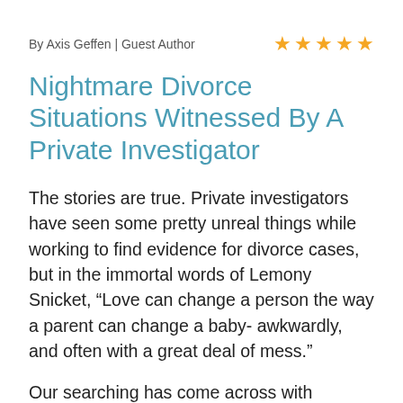By Axis Geffen | Guest Author
Nightmare Divorce Situations Witnessed By A Private Investigator
The stories are true. Private investigators have seen some pretty unreal things while working to find evidence for divorce cases, but in the immortal words of Lemony Snicket, “Love can change a person the way a parent can change a baby- awkwardly, and often with a great deal of mess.”
Our searching has come across with